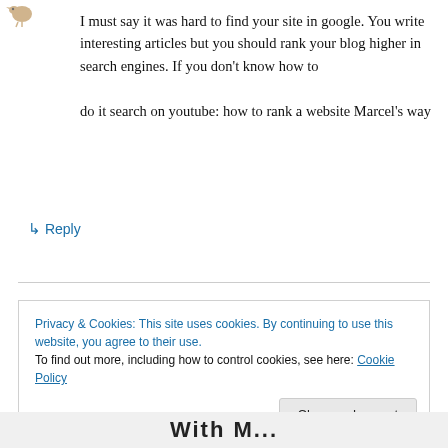[Figure (illustration): Small avatar/icon of a bird or animal figure in the top left corner]
I must say it was hard to find your site in google. You write interesting articles but you should rank your blog higher in search engines. If you don't know how to do it search on youtube: how to rank a website Marcel's way
↳ Reply
Privacy & Cookies: This site uses cookies. By continuing to use this website, you agree to their use. To find out more, including how to control cookies, see here: Cookie Policy
Close and accept